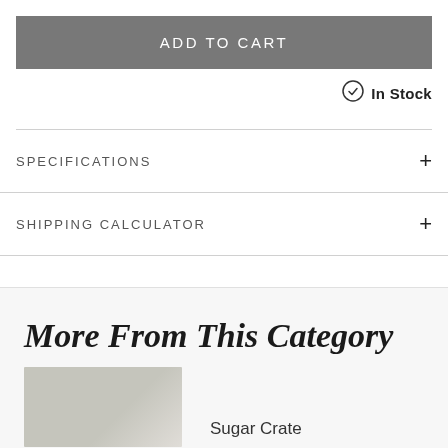ADD TO CART
In Stock
SPECIFICATIONS
SHIPPING CALCULATOR
More From This Category
Sugar Crate